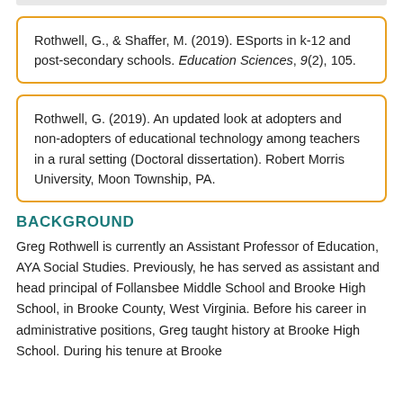Rothwell, G., & Shaffer, M. (2019). ESports in k-12 and post-secondary schools. Education Sciences, 9(2), 105.
Rothwell, G. (2019). An updated look at adopters and non-adopters of educational technology among teachers in a rural setting (Doctoral dissertation). Robert Morris University, Moon Township, PA.
BACKGROUND
Greg Rothwell is currently an Assistant Professor of Education, AYA Social Studies. Previously, he has served as assistant and head principal of Follansbee Middle School and Brooke High School, in Brooke County, West Virginia. Before his career in administrative positions, Greg taught history at Brooke High School. During his tenure at Brooke